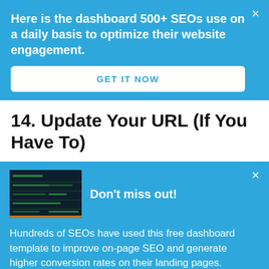Here is the dashboard 500+ SEOs use on a daily basis to optimize their website engagement.
GET IT NOW
14. Update Your URL (If You Have To)
[Figure (screenshot): Small thumbnail of a dark dashboard with green text/data lines]
Don't miss out!
Hundreds of SEOs have used this free dashboard template to improve on-page SEO and generate higher conversion rates on their landing pages.
GET FREE DASHBOARD